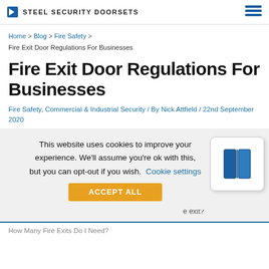STEEL SECURITY DOORSETS
Home > Blog > Fire Safety > Fire Exit Door Regulations For Businesses
Fire Exit Door Regulations For Businesses
Fire Safety, Commercial & Industrial Security / By Nick Attfield / 22nd September 2020
This website uses cookies to improve your experience. We'll assume you're ok with this, but you can opt-out if you wish. Cookie settings
ACCEPT ALL
[Figure (illustration): Door/book icon widget in white rounded box]
e exit?
How Many Fire Exits Do I Need?